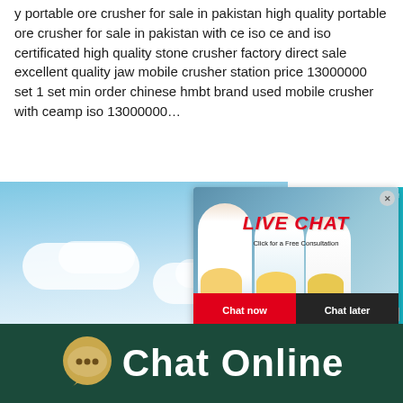y portable ore crusher for sale in pakistan high quality portable ore crusher for sale in pakistan with ce iso ce and iso certificated high quality stone crusher factory direct sale excellent quality jaw mobile crusher station price 13000000 set 1 set min order chinese hmbt brand used mobile crusher with ceamp iso 13000000…
Capacity
422T/H
Reviews
[Figure (screenshot): Live chat popup overlay with workers in hard hats, LIVE CHAT heading in red italic, Click for a Free Consultation subtitle, Chat now (red) and Chat later (dark) buttons]
[Figure (screenshot): Mood meter / satisfaction widget on right side in teal background showing emoji faces around a gauge, Click me to chat button, dashed line, and Enquiry text]
[Figure (photo): Sky background photo with blue sky and white clouds]
Chat Online